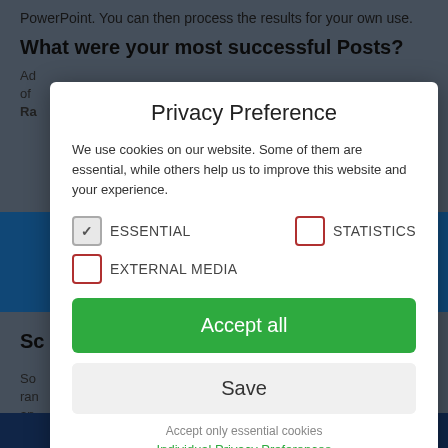PowerPoint. You can then process the results for your own use.
What were your most successful Posts?
Ad... of Ra...
Privacy Preference
We use cookies on our website. Some of them are essential, while others help us to improve this website and your experience.
ESSENTIAL   STATISTICS   EXTERNAL MEDIA
Accept all
Save
Accept only essential cookies
Individual Privacy Preferences
Cookie Details | Privacy Policy | Imprint
Sc...
So... ran... an... nig...
T/...